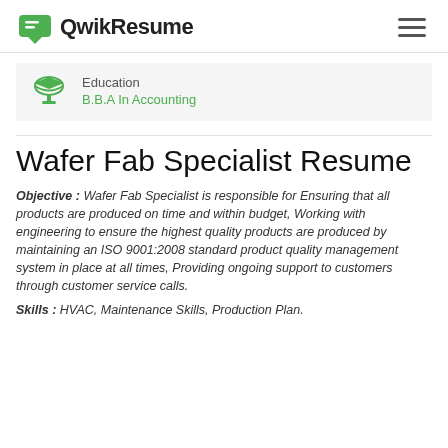QwikResume
Education
B.B.A In Accounting
Wafer Fab Specialist Resume
Objective : Wafer Fab Specialist is responsible for Ensuring that all products are produced on time and within budget, Working with engineering to ensure the highest quality products are produced by maintaining an ISO 9001:2008 standard product quality management system in place at all times, Providing ongoing support to customers through customer service calls.
Skills : HVAC, Maintenance Skills, Production Plan.